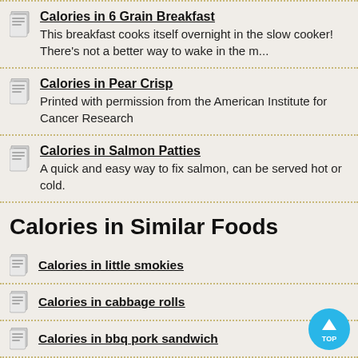Calories in 6 Grain Breakfast – This breakfast cooks itself overnight in the slow cooker! There's not a better way to wake in the m...
Calories in Pear Crisp – Printed with permission from the American Institute for Cancer Research
Calories in Salmon Patties – A quick and easy way to fix salmon, can be served hot or cold.
Calories in Similar Foods
Calories in little smokies
Calories in cabbage rolls
Calories in bbq pork sandwich
Calories in homemade egg salad